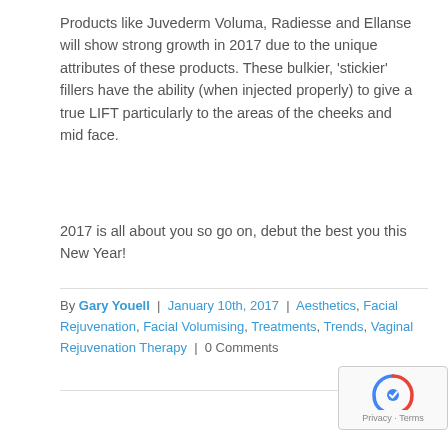Products like Juvederm Voluma, Radiesse and Ellanse will show strong growth in 2017 due to the unique attributes of these products. These bulkier, 'stickier' fillers have the ability (when injected properly) to give a true LIFT particularly to the areas of the cheeks and mid face.
2017 is all about you so go on, debut the best you this New Year!
By Gary Youell | January 10th, 2017 | Aesthetics, Facial Rejuvenation, Facial Volumising, Treatments, Trends, Vaginal Rejuvenation Therapy | 0 Comments